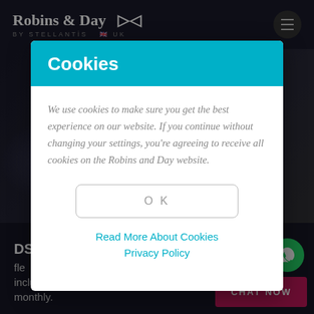[Figure (screenshot): Robins & Day by Stellantis website header with logo and hamburger menu icon, dark background with car imagery and promotional text about DS vehicles]
Cookies
We use cookies to make sure you get the best experience on our website. If you continue without changing your settings, you're agreeing to receive all cookies on the Robins and Day website.
OK
Read More About Cookies
Privacy Policy